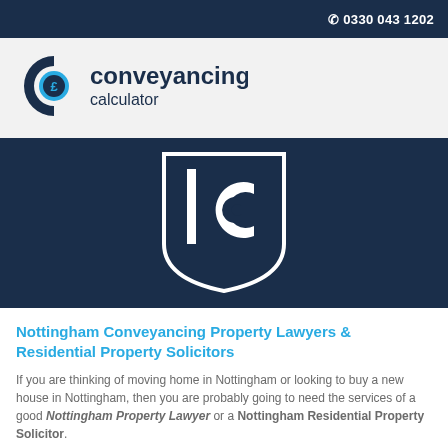☎ 0330 043 1202
[Figure (logo): Conveyancing Calculator logo with stylized C and pound sign in blue and dark navy, with text 'conveyancing calculator']
[Figure (logo): LC (law firm) shield logo in white on dark navy background]
Nottingham Conveyancing Property Lawyers & Residential Property Solicitors
If you are thinking of moving home in Nottingham or looking to buy a new house in Nottingham, then you are probably going to need the services of a good Nottingham Property Lawyer or a Nottingham Residential Property Solicitor.